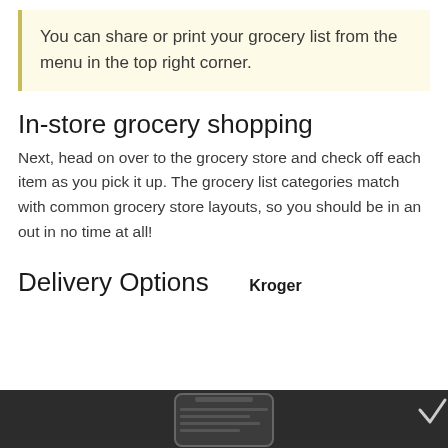You can share or print your grocery list from the menu in the top right corner.
In-store grocery shopping
Next, head on over to the grocery store and check off each item as you pick it up. The grocery list categories match with common grocery store layouts, so you should be in an out in no time at all!
Delivery Options
Kroger
[Figure (screenshot): Dark background screenshot showing a mobile phone with app interface]